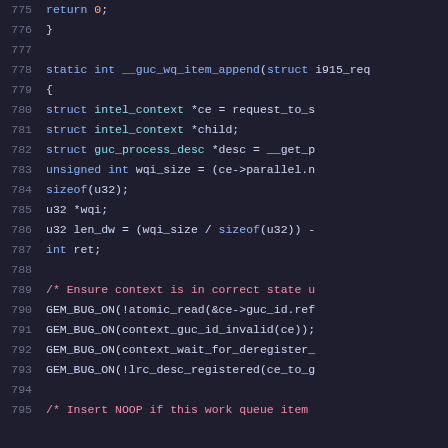[Figure (screenshot): Source code viewer showing C code lines 775-795, with syntax highlighting. Dark background with line numbers in gray, keywords in blue, comments in red/pink, and identifiers in cyan/white.]